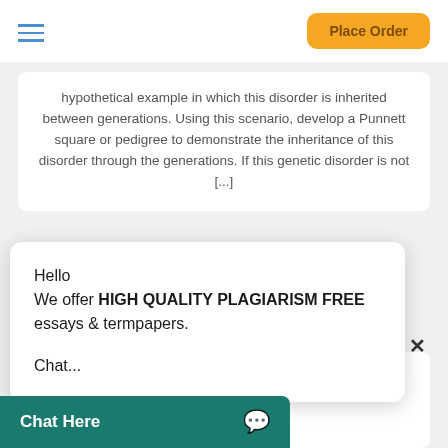Place Order
hypothetical example in which this disorder is inherited between generations. Using this scenario, develop a Punnett square or pedigree to demonstrate the inheritance of this disorder through the generations. If this genetic disorder is not [...]
Hello
We offer HIGH QUALITY PLAGIARISM FREE essays & termpapers.

Chat...
assigned for this week, please respond to the following e? What are some s that [...]
Chat Here